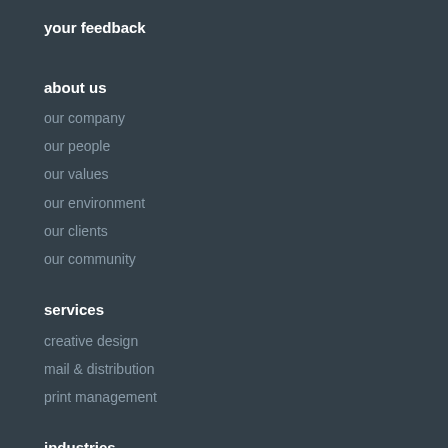your feedback
about us
our company
our people
our values
our environment
our clients
our community
services
creative design
mail & distribution
print management
industries
schools